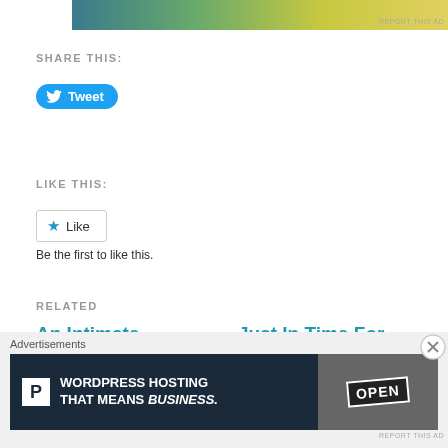[Figure (other): Advertisement banner with gradient color (teal to yellow-green)]
REPORT THIS AD
SHARE THIS:
[Figure (other): Twitter Tweet button (blue rounded button with bird icon and 'Tweet' text)]
LIKE THIS:
[Figure (other): WordPress Like button with star icon]
Be the first to like this.
RELATED
An Intimate Discussion with
Just In Time For Black History Month, It's
Advertisements
[Figure (other): WordPress Hosting advertisement banner: 'WORDPRESS HOSTING THAT MEANS BUSINESS.' with P logo and OPEN sign photo]